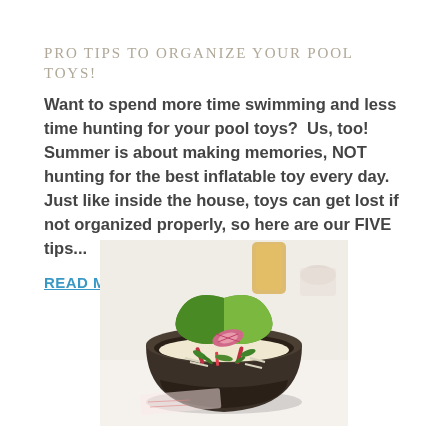Pro tips to organize your pool toys!
Want to spend more time swimming and less time hunting for your pool toys?  Us, too! Summer is about making memories, NOT hunting for the best inflatable toy every day.  Just like inside the house, toys can get lost if not organized properly, so here are our FIVE tips...
READ MORE
[Figure (photo): A dark ceramic bowl filled with a colorful salad (lettuce, radish, greens, and other vegetables), placed on a white table with a glass of beer and a cup in the background.]